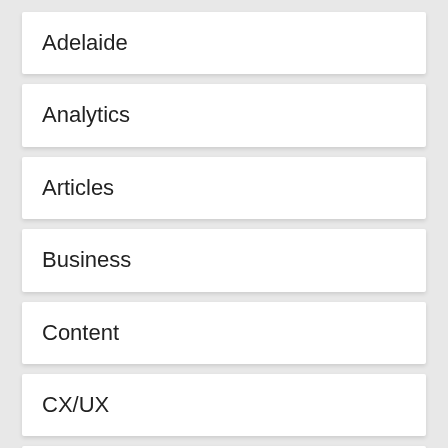Adelaide
Analytics
Articles
Business
Content
CX/UX
Digital Strategy
Ecommerce